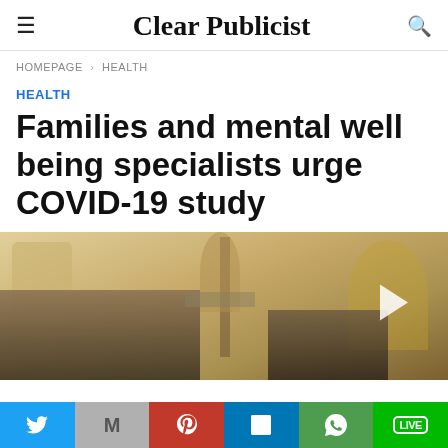Clear Publicist
HOMEPAGE > HEALTH
HEALTH
Families and mental well being specialists urge COVID-19 study
[Figure (photo): Photo of people in a decorated room, partially visible at bottom of article]
Social sharing bar: Twitter, Gmail, Pinterest, LinkedIn, WhatsApp, Line